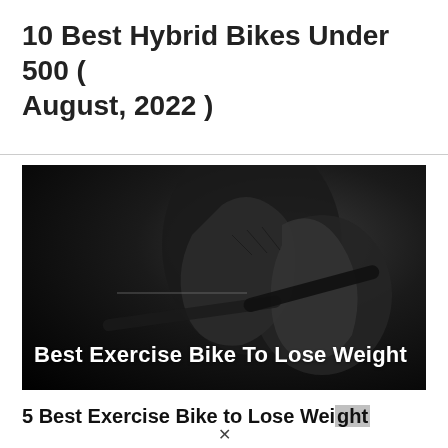10 Best Hybrid Bikes Under 500 ( August, 2022 )
[Figure (photo): Dark/black background photo of a hand gripping bicycle handlebars, with overlay text reading 'Best Exercise Bike To Lose Weight']
5 Best Exercise Bike to Lose Weight